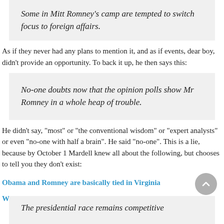Some in Mitt Romney’s camp are tempted to switch focus to foreign affairs.
As if they never had any plans to mention it, and as if events, dear boy, didn’t provide an opportunity. To back it up, he then says this:
No-one doubts now that the opinion polls show Mr Romney in a whole heap of trouble.
He didn’t say, “most” or “the conventional wisdom” or “expert analysts” or even “no-one with half a brain”. He said “no-one”. This is a lie, because by October 1 Mardell knew all about the following, but chooses to tell you they don’t exist:
Obama and Romney are basically tied in Virginia
What They Told Us: Reviewing Last Week’s Key Polls
The presidential race remains competitive